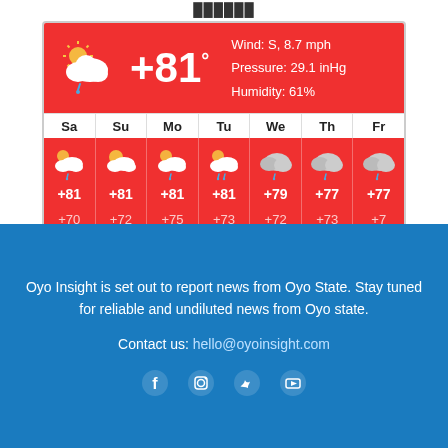[Figure (screenshot): Weather widget showing current conditions: +81°F, Wind: S 8.7 mph, Pressure: 29.1 inHg, Humidity: 61%. Weekly forecast for Sa, Su, Mo, Tu, We, Th, Fr with highs +81, +81, +81, +81, +79, +77, +77 and lows +70, +72, +75, +73, +72, +73, +7x. Branded with World Weather and FORECA logos.]
Oyo Insight is set out to report news from Oyo State. Stay tuned for reliable and undiluted news from Oyo state.
Contact us: hello@oyoinsight.com